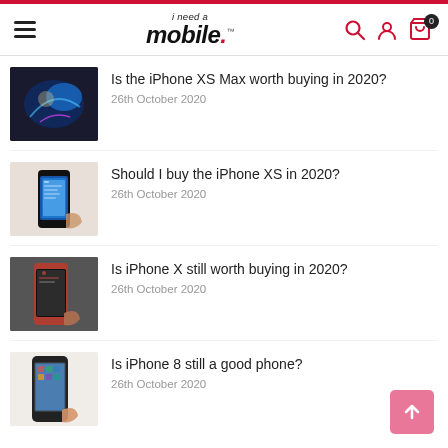i need a mobile.
Is the iPhone XS Max worth buying in 2020? — 26th October 2020
Should I buy the iPhone XS in 2020? — 26th October 2020
Is iPhone X still worth buying in 2020? — 26th October 2020
Is iPhone 8 still a good phone? — 26th October 2020